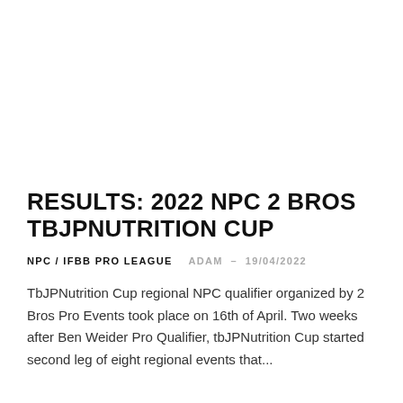RESULTS: 2022 NPC 2 BROS TBJPNUTRITION CUP
NPC / IFBB PRO LEAGUE   ADAM – 19/04/2022
TbJPNutrition Cup regional NPC qualifier organized by 2 Bros Pro Events took place on 16th of April. Two weeks after Ben Weider Pro Qualifier, tbJPNutrition Cup started second leg of eight regional events that...